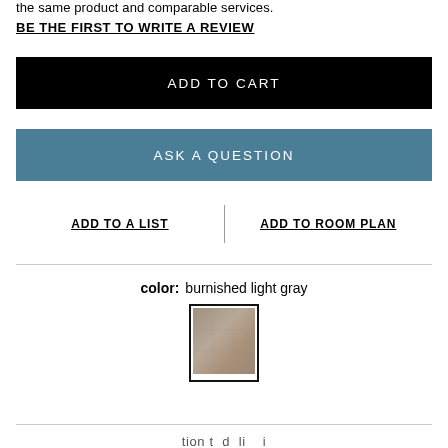the same product and comparable services.
BE THE FIRST TO WRITE A REVIEW
ADD TO CART
ASK A QUESTION
ADD TO A LIST
ADD TO ROOM PLAN
color: burnished light gray
[Figure (other): Color swatch showing burnished light gray flooring/tile sample with dark border]
tion t d li i